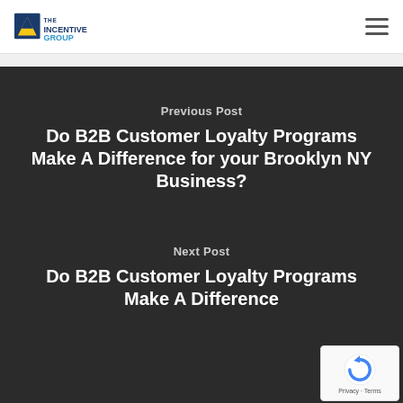The Incentive Group (logo) | hamburger menu
Previous Post
Do B2B Customer Loyalty Programs Make A Difference for your Brooklyn NY Business?
Next Post
Do B2B Customer Loyalty Programs Make A Difference